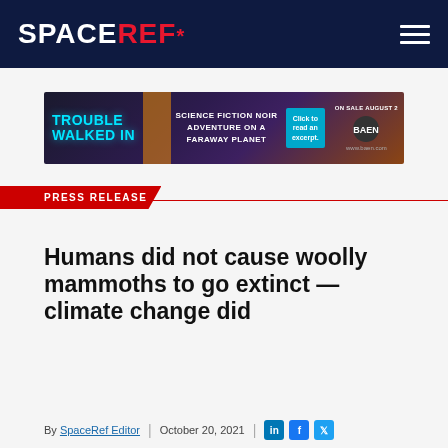SPACEREF*
[Figure (infographic): Advertisement banner for 'Trouble Walked In' — Science Fiction Noir Adventure on a Faraway Planet, on sale August 2, from Baen Books.]
PRESS RELEASE
Humans did not cause woolly mammoths to go extinct — climate change did
By SpaceRef Editor | October 20, 2021
Filed under Earth, Earth Science, University of Cambridge, US